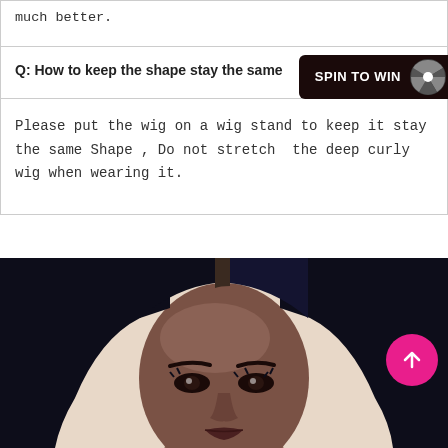much better.
Q: How to keep the shape stay the same
Please put the wig on a wig stand to keep it stay the same Shape , Do not stretch  the deep curly wig when wearing it.
[Figure (photo): Portrait photo of a woman wearing a dark straight wig with center part, looking at the camera with a neutral expression. Background is light beige.]